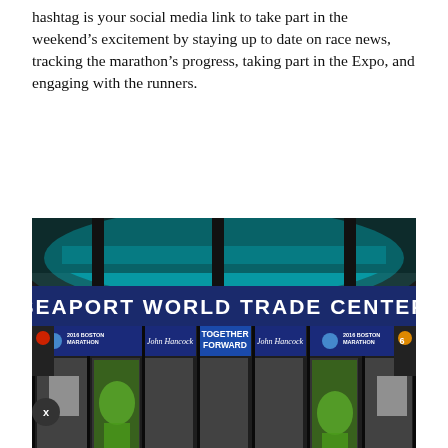hashtag is your social media link to take part in the weekend’s excitement by staying up to date on race news, tracking the marathon’s progress, taking part in the Expo, and engaging with the runners.
[Figure (photo): Exterior of Seaport World Trade Center entrance with Boston Marathon and John Hancock banners reading 'TOGETHER FORWARD']
Photo credit: John Hancock
The Expo moves to Seaport